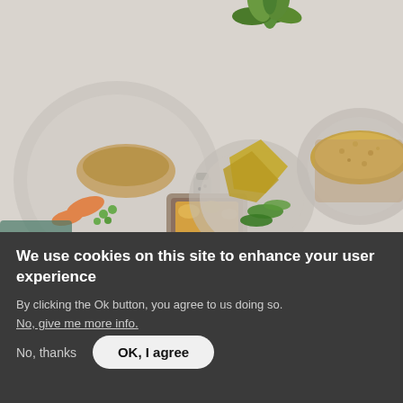[Figure (photo): Overhead view of restaurant food dishes on plates — includes a plate with carrots and peas, a dish with breaded food, a baked dish with bread, and a succulent plant in the background on a light grey surface with a salt shaker.]
We use cookies on this site to enhance your user experience
By clicking the Ok button, you agree to us doing so.
No, give me more info.
No, thanks
OK, I agree